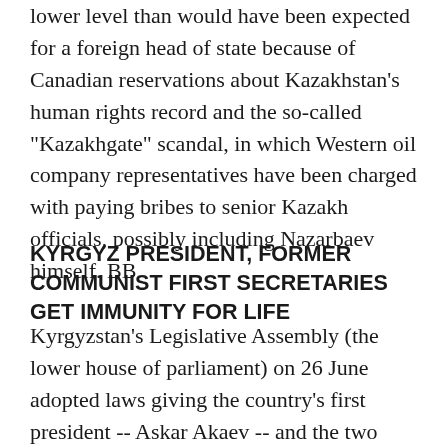lower level than would have been expected for a foreign head of state because of Canadian reservations about Kazakhstan's human rights record and the so-called "Kazakhgate" scandal, in which Western oil company representatives have been charged with paying bribes to senior Kazakh officials, possibly including Nazarbaev himself. BB
KYRGYZ PRESIDENT, FORMER COMMUNIST FIRST SECRETARIES GET IMMUNITY FOR LIFE
Kyrgyzstan's Legislative Assembly (the lower house of parliament) on 26 June adopted laws giving the country's first president -- Askar Akaev -- and the two former first secretaries of the Communist Party of Kirghizia who are now parliamentarians -- Absamat Masaliev and Turdakun Usubaliev -- lifelong immunity from prosecution for actions taken during their periods in office. akipress.org